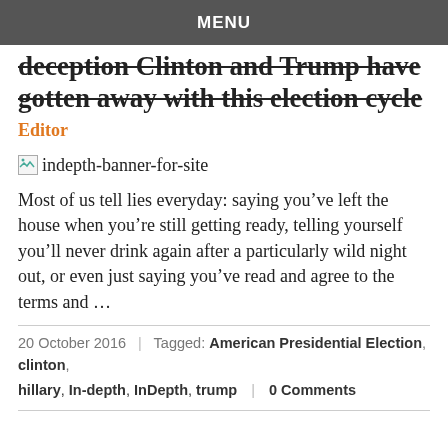MENU
deception Clinton and Trump have gotten away with this election cycle
Editor
[Figure (other): Broken image placeholder for indepth-banner-for-site]
Most of us tell lies everyday: saying you've left the house when you're still getting ready, telling yourself you'll never drink again after a particularly wild night out, or even just saying you've read and agree to the terms and …
20 October 2016  |  Tagged: American Presidential Election, clinton,
hillary, In-depth, InDepth, trump  |  0 Comments